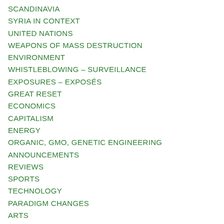SCANDINAVIA
SYRIA IN CONTEXT
UNITED NATIONS
WEAPONS OF MASS DESTRUCTION
ENVIRONMENT
WHISTLEBLOWING – SURVEILLANCE
EXPOSURES – EXPOSÉS
GREAT RESET
ECONOMICS
CAPITALISM
ENERGY
ORGANIC, GMO, GENETIC ENGINEERING
ANNOUNCEMENTS
REVIEWS
SPORTS
TECHNOLOGY
PARADIGM CHANGES
ARTS
COOPS-COOPERATION-SHARING
EDUCATION
TRADE